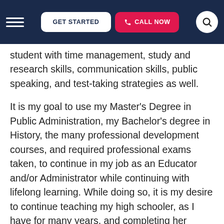GET STARTED | CALL NOW
student with time management, study and research skills, communication skills, public speaking, and test-taking strategies as well.
It is my goal to use my Master's Degree in Public Administration, my Bachelor's degree in History, the many professional development courses, and required professional exams taken, to continue in my job as an Educator and/or Administrator while continuing with lifelong learning. While doing so, it is my desire to continue teaching my high schooler, as I have for many years, and completing her extensive portfolio for her college admission into the field of electrical engineering. Found to be rewarding and fun, I love volunteering and working where I can best utilize my skills